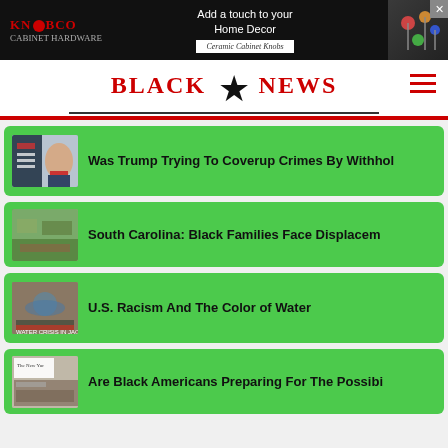[Figure (other): Advertisement banner for KNOBCO ceramic cabinet knobs on dark background with close button]
BLACK ★ NEWS
Was Trump Trying To Coverup Crimes By Withhol
South Carolina: Black Families Face Displacem
U.S. Racism And The Color of Water
Are Black Americans Preparing For The Possibi